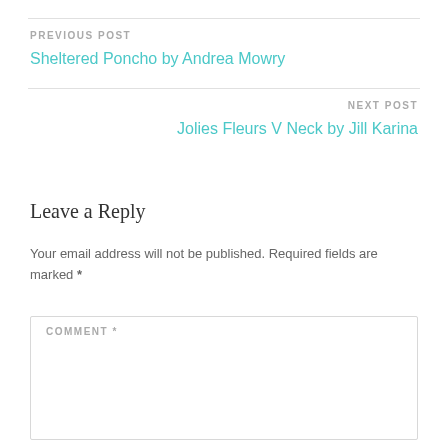PREVIOUS POST
Sheltered Poncho by Andrea Mowry
NEXT POST
Jolies Fleurs V Neck by Jill Karina
Leave a Reply
Your email address will not be published. Required fields are marked *
COMMENT *